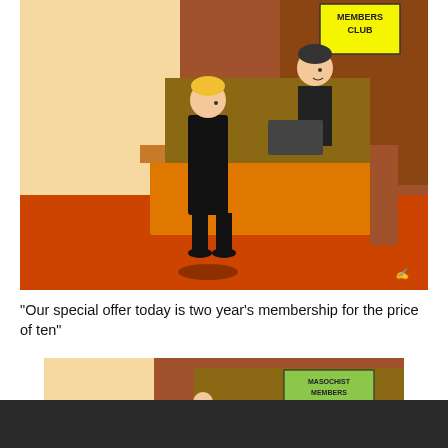[Figure (illustration): Cartoon of a person in black suit standing at a reception desk labeled 'MEMBERS CLUB'. A staff member behind the desk speaks to the visitor. The room has orange floors and brown walls.]
“Our special offer today is two year’s membership for the price of ten”
[Figure (illustration): Partial view of a second cartoon, similar members club reception scene, partially obscured by a dark bar at the bottom of the page.]